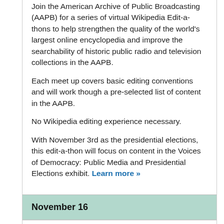Join the American Archive of Public Broadcasting (AAPB) for a series of virtual Wikipedia Edit-a-thons to help strengthen the quality of the world's largest online encyclopedia and improve the searchability of historic public radio and television collections in the AAPB.
Each meet up covers basic editing conventions and will work though a pre-selected list of content in the AAPB.
No Wikipedia editing experience necessary.
With November 3rd as the presidential elections, this edit-a-thon will focus on content in the Voices of Democracy: Public Media and Presidential Elections exhibit. Learn more »
November 16
Special Meeting of the Board of Directors